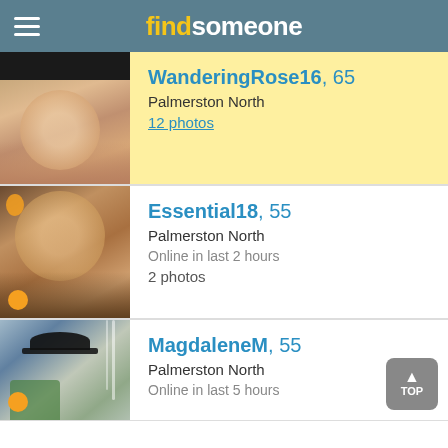find someone
[Figure (photo): Profile photo of WanderingRose16, a woman with blonde hair smiling, wearing grey top]
WanderingRose16, 65
Palmerston North
12 photos
[Figure (photo): Profile photo of Essential18, a woman with brown/blonde hair smiling, wearing dark top, orange balloon in background]
Essential18, 55
Palmerston North
Online in last 2 hours
2 photos
[Figure (photo): Profile photo of MagdaleneM, a woman wearing a black hat near a fountain, green jacket]
MagdaleneM, 55
Palmerston North
Online in last 5 hours